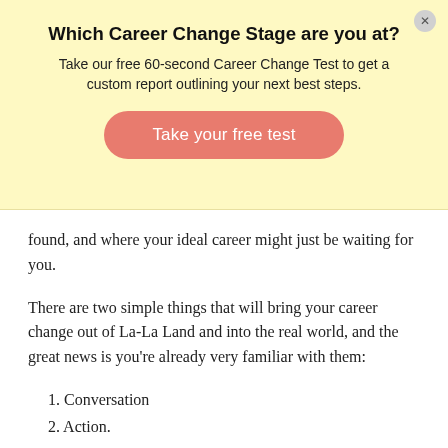Which Career Change Stage are you at?
Take our free 60-second Career Change Test to get a custom report outlining your next best steps.
[Figure (other): Call-to-action button with text 'Take your free test' in salmon/coral color with rounded pill shape]
found, and where your ideal career might just be waiting for you.
There are two simple things that will bring your career change out of La-La Land and into the real world, and the great news is you're already very familiar with them:
1. Conversation
2. Action.